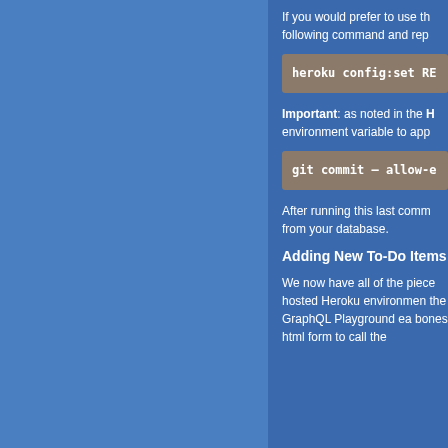If you would prefer to use the following command and rep
heroku config:set RE
Important: as noted in the H environment variable to app
git commit — allow-e
After running this last comm from your database.
Adding New To-Do Items
We now have all of the piece hosted Heroku environmen the GraphQL Playground ea bones html form to call the